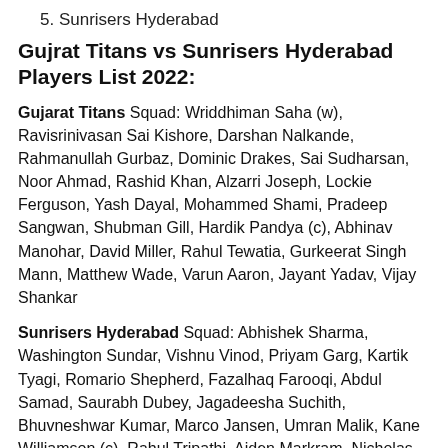5. Sunrisers Hyderabad
Gujrat Titans vs Sunrisers Hyderabad Players List 2022:
Gujarat Titans Squad: Wriddhiman Saha (w), Ravisrinivasan Sai Kishore, Darshan Nalkande, Rahmanullah Gurbaz, Dominic Drakes, Sai Sudharsan, Noor Ahmad, Rashid Khan, Alzarri Joseph, Lockie Ferguson, Yash Dayal, Mohammed Shami, Pradeep Sangwan, Shubman Gill, Hardik Pandya (c), Abhinav Manohar, David Miller, Rahul Tewatia, Gurkeerat Singh Mann, Matthew Wade, Varun Aaron, Jayant Yadav, Vijay Shankar
Sunrisers Hyderabad Squad: Abhishek Sharma, Washington Sundar, Vishnu Vinod, Priyam Garg, Kartik Tyagi, Romario Shepherd, Fazalhaq Farooqi, Abdul Samad, Saurabh Dubey, Jagadeesha Suchith, Bhuvneshwar Kumar, Marco Jansen, Umran Malik, Kane Williamson (c), Rahul Tripathi, Aiden Markram, Nicholas Pooran (w), Shashank Singh, Glenn Phillips, T Natarajan, Sean Abbott, Ravikumar Samarth, Shreyas Gopal